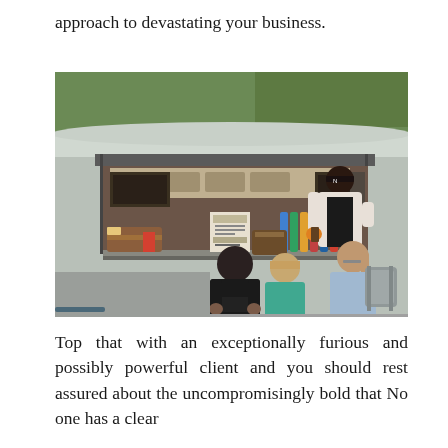approach to devastating your business.
[Figure (photo): A food truck scene with a worker in a black cap and apron serving customers. Three people stand outside at the counter - a child in a black hoodie, a child in a teal jacket, and a woman with a backpack. The stainless steel truck is open with visible menus, food items, and beverages on the counter.]
Top that with an exceptionally furious and possibly powerful client and you should rest assured about the uncompromisingly bold that No one has a clear